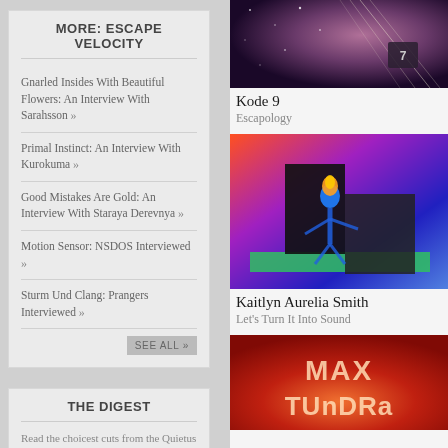MORE: ESCAPE VELOCITY
Gnarled Insides With Beautiful Flowers: An Interview With Sarahsson »
Primal Instinct: An Interview With Kurokuma »
Good Mistakes Are Gold: An Interview With Staraya Derevnya »
Motion Sensor: NSDOS Interviewed »
Sturm Und Clang: Prangers Interviewed »
[Figure (photo): Kode 9 - Escapology album artwork, abstract purple and dark tones with white light trails]
Kode 9
Escapology
[Figure (photo): Kaitlyn Aurelia Smith - Let's Turn It Into Sound album artwork, colorful 3D figure in blue against orange/purple/green background]
Kaitlyn Aurelia Smith
Let's Turn It Into Sound
THE DIGEST
Read the choicest cuts from the Quietus archive: reviews, features and opinion.
[Figure (photo): Max Tundra album artwork, red/orange tones with large bold text MAX TUNDRA]